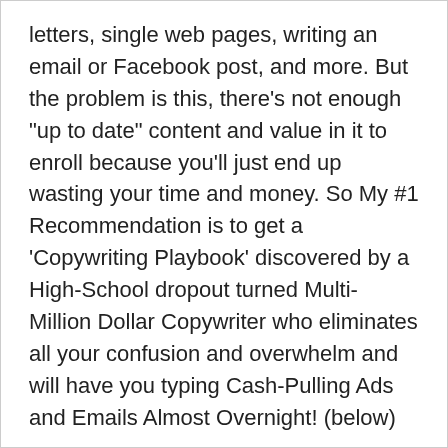letters, single web pages, writing an email or Facebook post, and more. But the problem is this, there's not enough "up to date" content and value in it to enroll because you'll just end up wasting your time and money. So My #1 Recommendation is to get a 'Copywriting Playbook' discovered by a High-School dropout turned Multi-Million Dollar Copywriter who eliminates all your confusion and overwhelm and will have you typing Cash-Pulling Ads and Emails Almost Overnight! (below)
Rating: 50/100